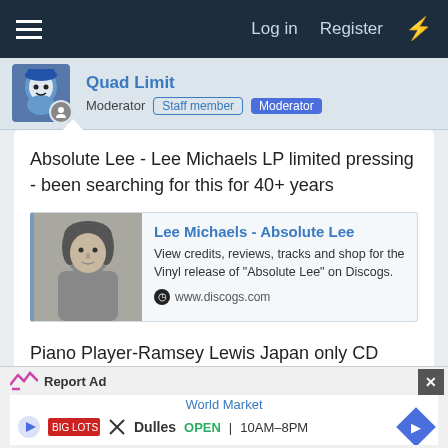Log in   Register
Quad Limit
Moderator   Staff member   Moderator
Absolute Lee - Lee Michaels LP limited pressing - been searching for this for 40+ years
[Figure (screenshot): Link preview card for Discogs page: thumbnail of Lee Michaels, title 'Lee Michaels - Absolute Lee', description 'View credits, reviews, tracks and shop for the Vinyl release of "Absolute Lee" on Discogs.', URL www.discogs.com]
Piano Player-Ramsey Lewis Japan only CD Maurice White, drums/Cleveland Eaton, bass
Report Ad   World Market   Dulles  OPEN  10AM-8PM